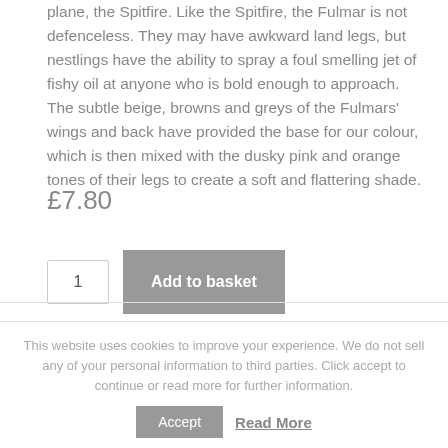plane, the Spitfire. Like the Spitfire, the Fulmar is not defenceless. They may have awkward land legs, but nestlings have the ability to spray a foul smelling jet of fishy oil at anyone who is bold enough to approach. The subtle beige, browns and greys of the Fulmars' wings and back have provided the base for our colour, which is then mixed with the dusky pink and orange tones of their legs to create a soft and flattering shade.
£7.80
1
Add to basket
This website uses cookies to improve your experience. We do not sell any of your personal information to third parties. Click accept to continue or read more for further information.
Accept
Read More